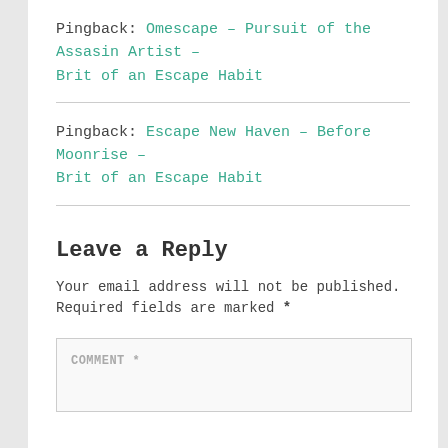Pingback: Omescape – Pursuit of the Assasin Artist – Brit of an Escape Habit
Pingback: Escape New Haven – Before Moonrise – Brit of an Escape Habit
Leave a Reply
Your email address will not be published. Required fields are marked *
COMMENT *